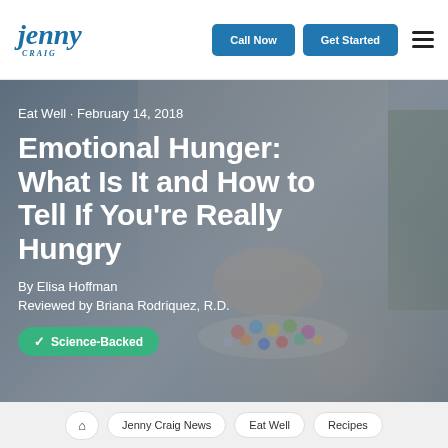Jenny Craig | Call Now | Get Started
[Figure (photo): A blurred background photo of a person reaching into a bowl of colorful candy/small balls, with a plant visible on the right side, serving as the hero image background for a blog article about emotional hunger.]
Eat Well · February 14, 2018
Emotional Hunger: What Is It and How to Tell If You're Really Hungry
By Elisa Hoffman
Reviewed by Briana Rodriquez, R.D.
✓ Science-Backed
🏠 | Jenny Craig News | Eat Well | Recipes